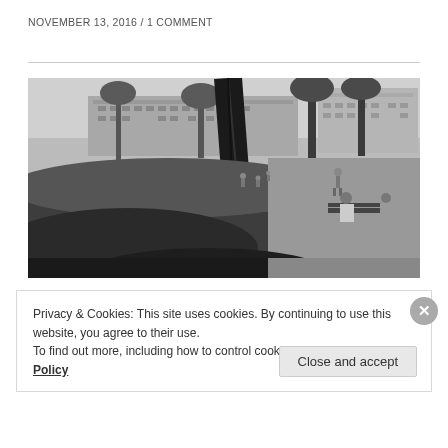NOVEMBER 13, 2016 / 1 COMMENT
[Figure (photo): Black and white photograph of an urban park scene with palm trees, grass, benches, people sitting and walking, and a large building in the background.]
Privacy & Cookies: This site uses cookies. By continuing to use this website, you agree to their use.
To find out more, including how to control cookies, see here: Cookie Policy
Close and accept